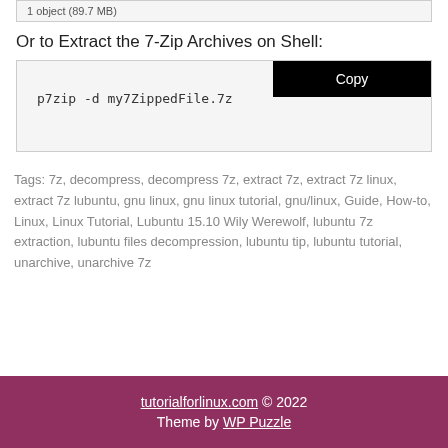1 object (89.7 MB)
Or to Extract the 7-Zip Archives on Shell:
[Figure (screenshot): Code block with copy button showing command: p7zip -d my7ZippedFile.7z]
Tags: 7z, decompress, decompress 7z, extract 7z, extract 7z linux, extract 7z lubuntu, gnu linux, gnu linux tutorial, gnu/linux, Guide, How-to, Linux, Linux Tutorial, Lubuntu 15.10 Wily Werewolf, lubuntu 7z extraction, lubuntu files decompression, lubuntu tip, lubuntu tutorial, unarchive, unarchive 7z
tutorialforlinux.com © 2022
Theme by WP Puzzle